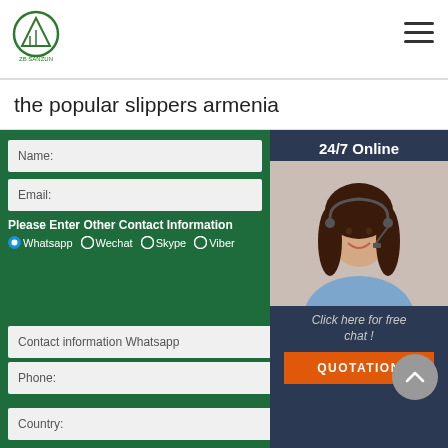[Figure (logo): Green circular logo with mountain/triangle icon and Chinese text 'ZB SANZUN']
the popular slippers armenia
24/7 Online
[Figure (photo): Customer service woman with headset smiling]
Click here for free chat !
QUOTATION
Name:
Email:
Please Enter Other Contact Information
Whatsapp
Wechat
Skype
Viber
Contact information Whatsapp
Phone:
Country: